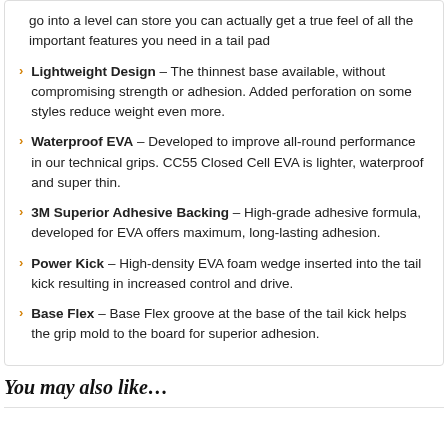go into a level can store you can actually get a true feel of all the important features you need in a tail pad
Lightweight Design – The thinnest base available, without compromising strength or adhesion. Added perforation on some styles reduce weight even more.
Waterproof EVA – Developed to improve all-round performance in our technical grips. CC55 Closed Cell EVA is lighter, waterproof and super thin.
3M Superior Adhesive Backing – High-grade adhesive formula, developed for EVA offers maximum, long-lasting adhesion.
Power Kick – High-density EVA foam wedge inserted into the tail kick resulting in increased control and drive.
Base Flex – Base Flex groove at the base of the tail kick helps the grip mold to the board for superior adhesion.
You may also like…